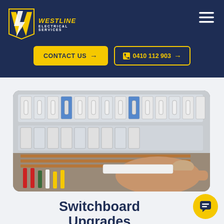[Figure (logo): Westline Electrical Services logo — yellow lightning bolt W on dark background with company name]
CONTACT US →
📞 0410 112 903 →
[Figure (photo): Close-up photo of a hand working on an electrical switchboard with circuit breakers and wiring]
Switchboard Upgrades